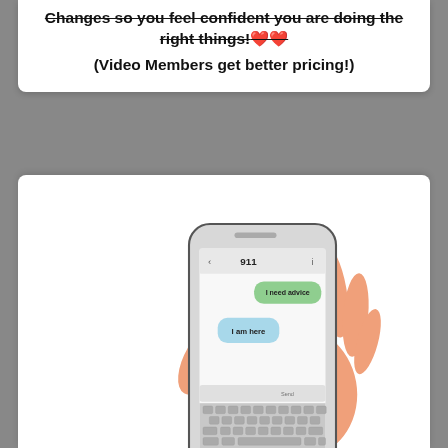Changes so you feel confident you are doing the right things!❤️❤️
(Video Members get better pricing!)
[Figure (illustration): An illustration of a hand holding a smartphone. The phone screen shows a text conversation with '911' at the top, a green speech bubble saying 'I need advice' and a blue speech bubble saying 'I am here'. The phone has a visible keyboard at the bottom.]